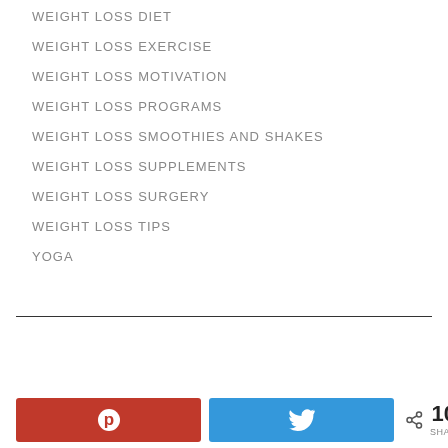WEIGHT LOSS DIET
WEIGHT LOSS EXERCISE
WEIGHT LOSS MOTIVATION
WEIGHT LOSS PROGRAMS
WEIGHT LOSS SMOOTHIES AND SHAKES
WEIGHT LOSS SUPPLEMENTS
WEIGHT LOSS SURGERY
WEIGHT LOSS TIPS
YOGA